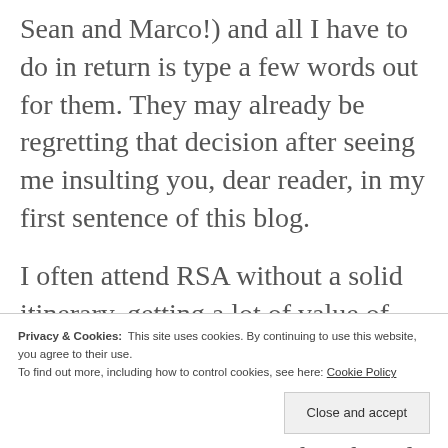Sean and Marco!) and all I have to do in return is type a few words out for them. They may already be regretting that decision after seeing me insulting you, dear reader, in my first sentence of this blog.
I often attend RSA without a solid itinerary, getting a lot of value of the "hallway track" and the multitude of
Privacy & Cookies: This site uses cookies. By continuing to use this website, you agree to their use. To find out more, including how to control cookies, see here: Cookie Policy
staying in an AirBnB with a shared